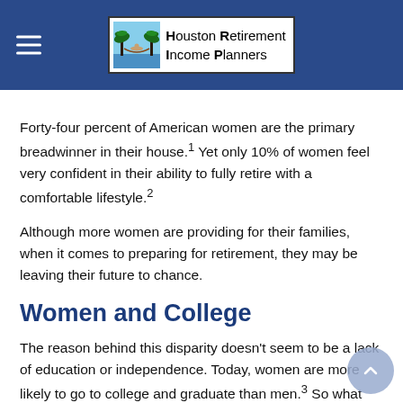Houston Retirement Income Planners
Forty-four percent of American women are the primary breadwinner in their house.¹ Yet only 10% of women feel very confident in their ability to fully retire with a comfortable lifestyle.²
Although more women are providing for their families, when it comes to preparing for retirement, they may be leaving their future to chance.
Women and College
The reason behind this disparity doesn't seem to be a lack of education or independence. Today, women are more likely to go to college and graduate than men.³ So what keeps them from taking charge of their long-term financial